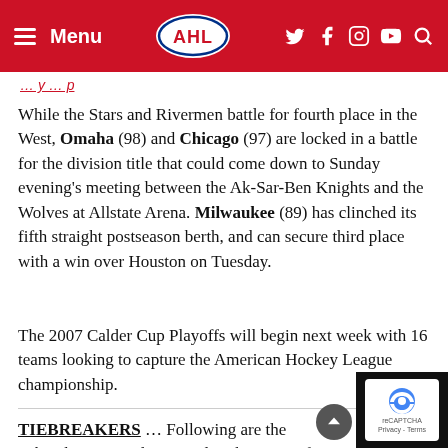Menu | AHL | (social icons)
(partial link/breadcrumb text in red)
While the Stars and Rivermen battle for fourth place in the West, Omaha (98) and Chicago (97) are locked in a battle for the division title that could come down to Sunday evening's meeting between the Ak-Sar-Ben Knights and the Wolves at Allstate Arena. Milwaukee (89) has clinched its fifth straight postseason berth, and can secure third place with a win over Houston on Tuesday.
The 2007 Calder Cup Playoffs will begin next week with 16 teams looking to capture the American Hockey League championship.
TIEBREAKERS … Following are the tiebreaking procedures used in the event of a tie in the standings following the completion of the regu…